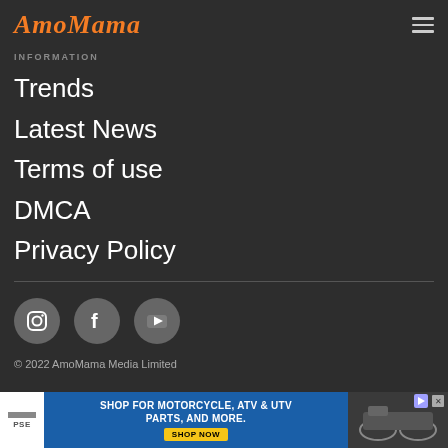AmoMama
INFORMATION
Trends
Latest News
Terms of use
DMCA
Privacy Policy
[Figure (other): Social media icons: Instagram, Facebook, YouTube in grey circles]
© 2022 AmoMama Media Limited
[Figure (other): Advertisement banner: PSE logo, Shop for Motorcycle, ATV & UTV Parts, and More. Shop Now button. Image of motorcycles on right.]